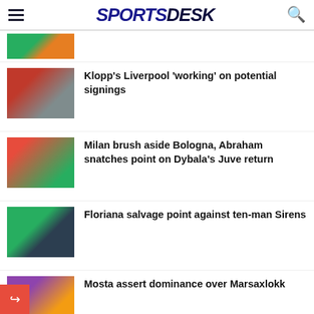SPORTSDESK
Klopp's Liverpool 'working' on potential signings
Milan brush aside Bologna, Abraham snatches point on Dybala's Juve return
Floriana salvage point against ten-man Sirens
Mosta assert dominance over Marsaxlokk